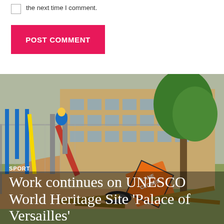the next time I comment.
POST COMMENT
[Figure (photo): Outdoor scene of a school playground with a red slide, chain-link fence, a brick school building, trees, and construction/road signs including an orange diamond sign with text 'LANE CLOSED' lying on the ground with debris.]
SPORT
Work continues on UNESCO World Heritage Site 'Palace of Versailles'